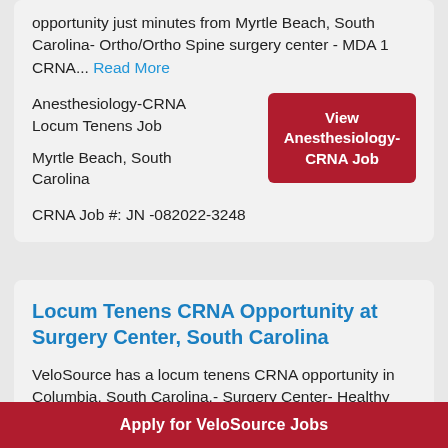opportunity just minutes from Myrtle Beach, South Carolina- Ortho/Ortho Spine surgery center - MDA 1 CRNA... Read More
Anesthesiology-CRNA Locum Tenens Job
Myrtle Beach, South Carolina
[Figure (other): View Anesthesiology-CRNA Job button in dark red]
CRNA Job #: JN -082022-3248
Locum Tenens CRNA Opportunity at Surgery Center, South Carolina
VeloSource has a locum tenens CRNA opportunity in Columbia, South Carolina.- Surgery Center- Healthy Peds - ENT and Pediatric
patient has to be in OR by 8:15 or they
Apply for VeloSource Jobs